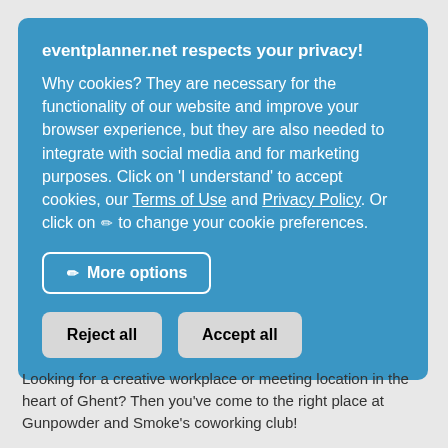eventplanner.net respects your privacy!
Why cookies? They are necessary for the functionality of our website and improve your browser experience, but they are also needed to integrate with social media and for marketing purposes. Click on 'I understand' to accept cookies, our Terms of Use and Privacy Policy. Or click on ✏ to change your cookie preferences.
✏ More options
Reject all
Accept all
Looking for a creative workplace or meeting location in the heart of Ghent? Then you've come to the right place at Gunpowder and Smoke's coworking club!